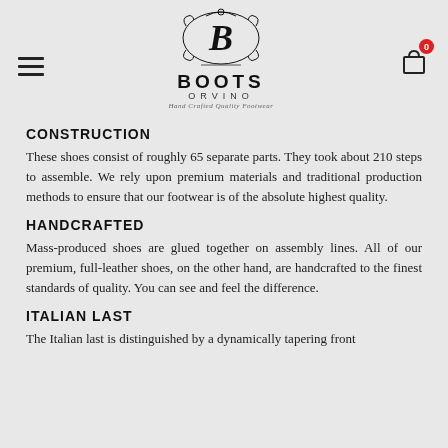Boots Orvino – Hand Crafted Quality Footwear (logo/navigation header)
CONSTRUCTION
These shoes consist of roughly 65 separate parts. They took about 210 steps to assemble. We rely upon premium materials and traditional production methods to ensure that our footwear is of the absolute highest quality.
HANDCRAFTED
Mass-produced shoes are glued together on assembly lines. All of our premium, full-leather shoes, on the other hand, are handcrafted to the finest standards of quality. You can see and feel the difference.
ITALIAN LAST
The Italian last is distinguished by a dynamically tapering front